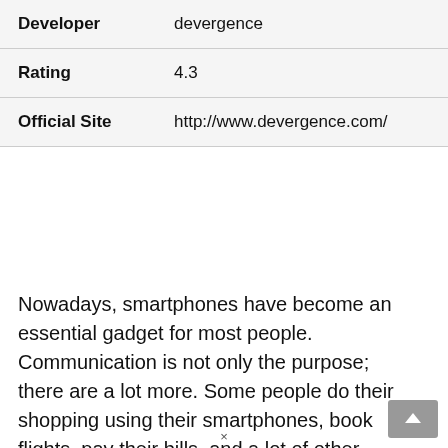| Developer | devergence |
| Rating | 4.3 |
| Official Site | http://www.devergence.com/ |
Nowadays, smartphones have become an essential gadget for most people. Communication is not only the purpose; there are a lot more. Some people do their shopping using their smartphones, book flights, pay their bills, and a lot of other things. The most amusing thing is, you can run the best Android or iOS apps and game in an advanced smartphone.